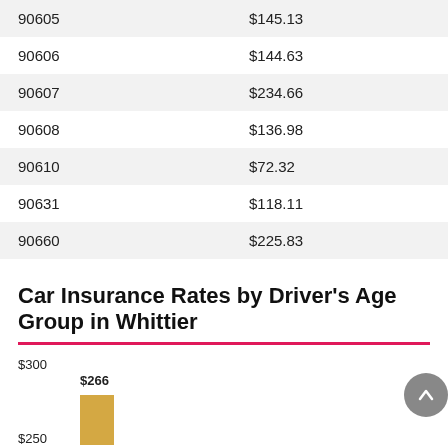| ZIP Code | Rate |
| --- | --- |
| 90605 | $145.13 |
| 90606 | $144.63 |
| 90607 | $234.66 |
| 90608 | $136.98 |
| 90610 | $72.32 |
| 90631 | $118.11 |
| 90660 | $225.83 |
Car Insurance Rates by Driver's Age Group in Whittier
[Figure (bar-chart): Car Insurance Rates by Driver's Age Group in Whittier]